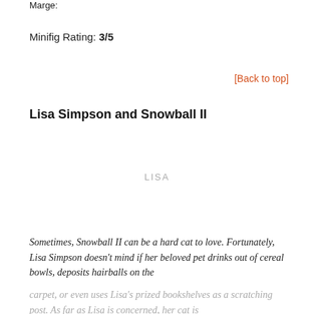Marge:
Minifig Rating: 3/5
[Back to top]
Lisa Simpson and Snowball II
LISA
Sometimes, Snowball II can be a hard cat to love. Fortunately, Lisa Simpson doesn't mind if her beloved pet drinks out of cereal bowls, deposits hairballs on the carpet, or even uses Lisa's prized bookshelves as a scratching post. As far as Lisa is concerned, her cat is